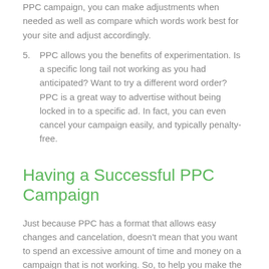PPC campaign, you can make adjustments when needed as well as compare which words work best for your site and adjust accordingly.
5. PPC allows you the benefits of experimentation. Is a specific long tail not working as you had anticipated? Want to try a different word order? PPC is a great way to advertise without being locked in to a specific ad. In fact, you can even cancel your campaign easily, and typically penalty-free.
Having a Successful PPC Campaign
Just because PPC has a format that allows easy changes and cancelation, doesn't mean that you want to spend an excessive amount of time and money on a campaign that is not working. So, to help you make the most of your resources, here are 3 things you can do to help you have a successful PPC campaign.